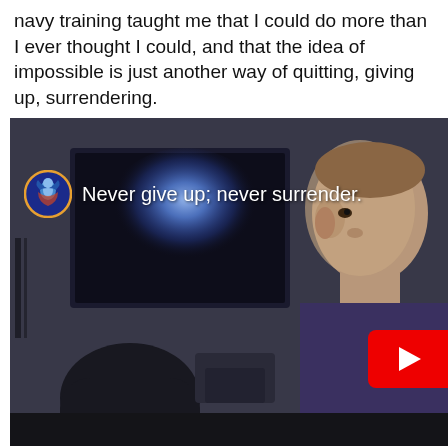navy training taught me that I could do more than I ever thought I could, and that the idea of impossible is just another way of quitting, giving up, surrendering.
[Figure (screenshot): Video thumbnail showing a person in a dark room with a blurred blue light in the background. A YouTube channel icon (blue bird/figure) appears in the upper left. White subtitle text reads 'Never give up; never surrender.' A red YouTube play button is in the lower right corner.]